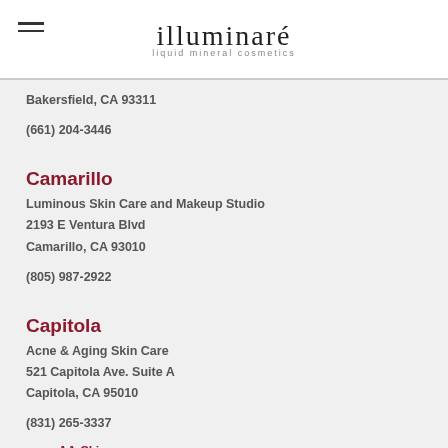illuminaré liquid mineral cosmetics
Bakersfield, CA 93311
(661) 204-3446
Camarillo
Luminous Skin Care and Makeup Studio
2193 E Ventura Blvd
Camarillo, CA 93010
(805) 987-2922
Capitola
Acne & Aging Skin Care
521 Capitola Ave. Suite A
Capitola, CA 95010
(831) 265-3337
www.AA-Skin.com
Carmel Valley